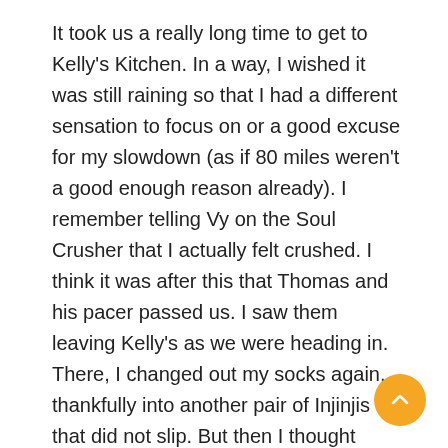It took us a really long time to get to Kelly's Kitchen. In a way, I wished it was still raining so that I had a different sensation to focus on or a good excuse for my slowdown (as if 80 miles weren't a good enough reason already). I remember telling Vy on the Soul Crusher that I actually felt crushed. I think it was after this that Thomas and his pacer passed us. I saw them leaving Kelly's as we were heading in. There, I changed out my socks again, thankfully into another pair of Injinjis that did not slip. But then I thought maybe I should change out of my nasty clothes to feel fresh for the remainder of the loop. Plus, I had frequently been stopping to pee, so I figured it'll be much easier to do so with my favorite rabbit Mountain Climber shorts on. True. However, the compression capris helped keep me feeling like I was in one piece. Once they came off, whatever